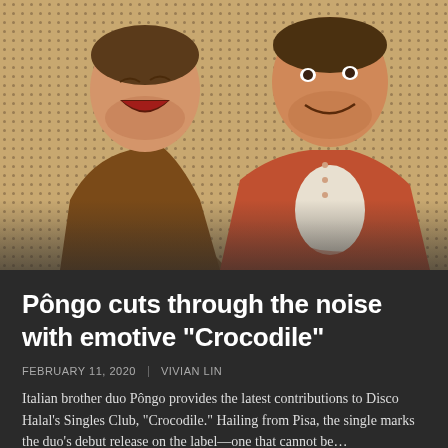[Figure (photo): Two smiling men (Italian brother duo Pôngo) seated against a wicker/dotted wall background. Left man wears a brown jacket over white shirt, right man wears a rust/orange button-up shirt over white shirt.]
Pôngo cuts through the noise with emotive "Crocodile"
FEBRUARY 11, 2020   VIVIAN LIN
Italian brother duo Pôngo provides the latest contributions to Disco Halal's Singles Club, "Crocodile." Hailing from Pisa, the single marks the duo's debut release on the label—one that cannot be…